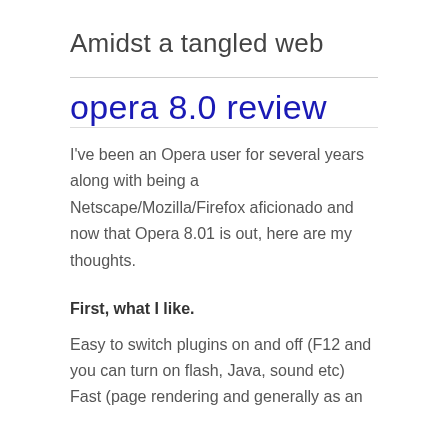Amidst a tangled web
opera 8.0 review
I've been an Opera user for several years along with being a Netscape/Mozilla/Firefox aficionado and now that Opera 8.01 is out, here are my thoughts.
First, what I like.
Easy to switch plugins on and off (F12 and you can turn on flash, Java, sound etc)
Fast (page rendering and generally as an